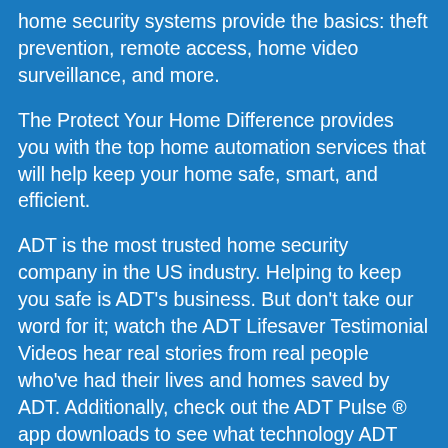home security systems provide the basics: theft prevention, remote access, home video surveillance, and more.
The Protect Your Home Difference provides you with the top home automation services that will help keep your home safe, smart, and efficient.
ADT is the most trusted home security company in the US industry. Helping to keep you safe is ADT's business. But don't take our word for it; watch the ADT Lifesaver Testimonial Videos hear real stories from real people who've had their lives and homes saved by ADT. Additionally, check out the ADT Pulse ® app downloads to see what technology ADT offers in terms of home safety. Protect Your Home's equipment is easy to use. ADT provides monitoring that can help keep your home secure 24/7 and aim to provide you with round-the-clock support as well through ADT customer service.